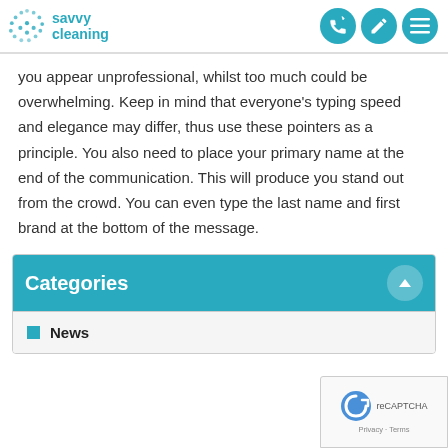savvy cleaning
you appear unprofessional, whilst too much could be overwhelming. Keep in mind that everyone's typing speed and elegance may differ, thus use these pointers as a principle. You also need to place your primary name at the end of the communication. This will produce you stand out from the crowd. You can even type the last name and first brand at the bottom of the message.
Categories
News